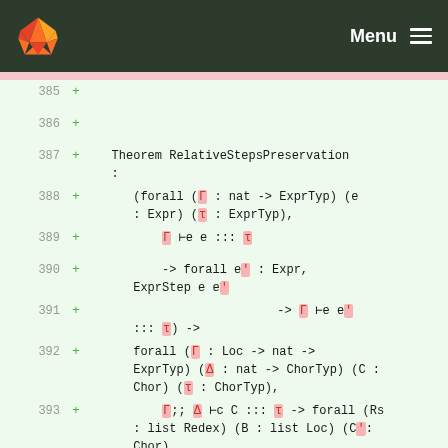Menu
385 +
386 +
387 +     Theorem RelativeStepsPreservation :
388 +         (forall (Γ : nat -> ExprTyp) (e : Expr) (τ : ExprTyp),
389 +             Γ ⊢e e ::: τ
390 +             -> forall e' : Expr, ExprStep e e'
391 +                             -> Γ ⊢e e' ::: τ) ->
392 +         forall (Γ : Loc -> nat -> ExprTyp) (Δ : nat -> ChorTyp) (C : Chor) (τ : ChorTyp),
393 +             Γ;; Δ ⊢c C ::: τ -> forall (Rs : list Redex) (B : list Loc) (C': Chor),
394 +                 ChorSteps Rs B C C' -> Γ;; Δ ⊢c C' ::: τ.
395 +     Proof using.